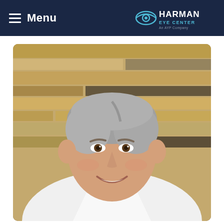Menu | Harman Eye Center - An AYP Company
[Figure (photo): Portrait photo of a middle-aged male doctor with grey hair, smiling, wearing a white lab coat, standing in front of a stacked stone wall background]